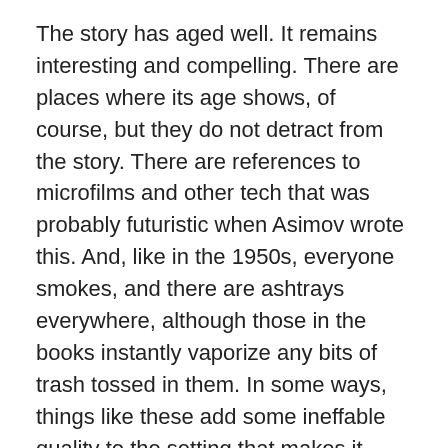The story has aged well. It remains interesting and compelling. There are places where its age shows, of course, but they do not detract from the story. There are references to microfilms and other tech that was probably futuristic when Asimov wrote this. And, like in the 1950s, everyone smokes, and there are ashtrays everywhere, although those in the books instantly vaporize any bits of trash tossed in them. In some ways, things like these add some ineffable quality to the setting that makes it more colorful. Or maybe I just think so because I remember microfilm and tapes and ashtrays.
I'm going to put this book back on my shelf now. I'll probably dust it off in another ten years or so if it and I are still around, read it again and think, ‘that's a damn good story.’